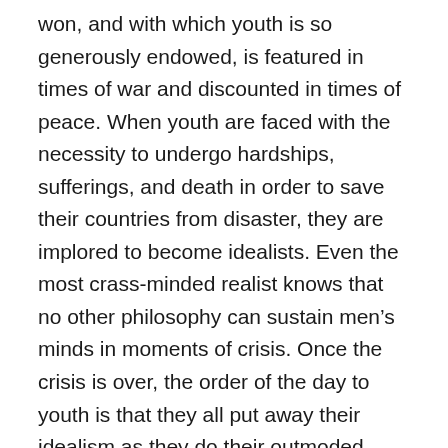won, and with which youth is so generously endowed, is featured in times of war and discounted in times of peace. When youth are faced with the necessity to undergo hardships, sufferings, and death in order to save their countries from disaster, they are implored to become idealists. Even the most crass-minded realist knows that no other philosophy can sustain men's minds in moments of crisis. Once the crisis is over, the order of the day to youth is that they all put away their idealism as they do their outmoded weapons of combat. He who sacrifices his personal interest in the cause of the common good in war is called a hero. He who imagines that such principles of behavior should be put into practice in times of peace is apt to be thought of as an unrealistic, starry-eyed idealist. The one has a crown as the reward of his labours, and the other a cross."